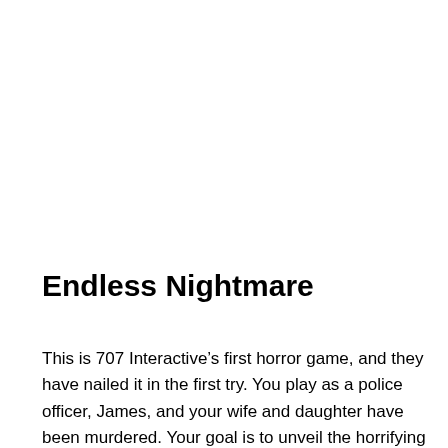Endless Nightmare
This is 707 Interactive’s first horror game, and they have nailed it in the first try. You play as a police officer, James, and your wife and daughter have been murdered. Your goal is to unveil the horrifying truth and find out what happened. A mix of suspense, horror, and creeps. As you investigate areas, you will be hunted by the madwoman.